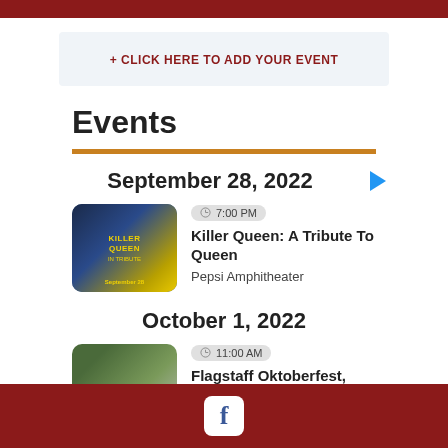+ CLICK HERE TO ADD YOUR EVENT
Events
September 28, 2022
[Figure (photo): Killer Queen tribute event thumbnail with yellow text on dark blue background showing 'KILLER QUEEN' and 'September 28']
7:00 PM
Killer Queen: A Tribute To Queen
Pepsi Amphitheater
October 1, 2022
[Figure (photo): Flagstaff Oktoberfest event thumbnail with crowd and green/grey tones]
11:00 AM
Flagstaff Oktoberfest, Presented by Desert...